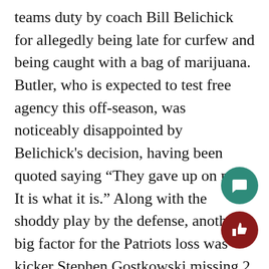teams duty by coach Bill Belichick for allegedly being late for curfew and being caught with a bag of marijuana. Butler, who is expected to test free agency this off-season, was noticeably disappointed by Belichick's decision, having been quoted saying “They gave up on me, It is what it is.” Along with the shoddy play by the defense, another big factor for the Patriots loss was kicker Stephen Gostkowski missing 2 field goals that would have helped the Patriots make this a much closer game. Once can only hope that Belichick will take the time to rebuild the offense to play around the strengths of injured star linebacker Dont'a Hightower, and try to help replace his staff with both offensive and defensive coordinators Josh McDaniel and Matt Patricia bolting to the Indianapolis Colts and Detroit Lions respectively.

On the other side of the field, The Philadelphia Eag…